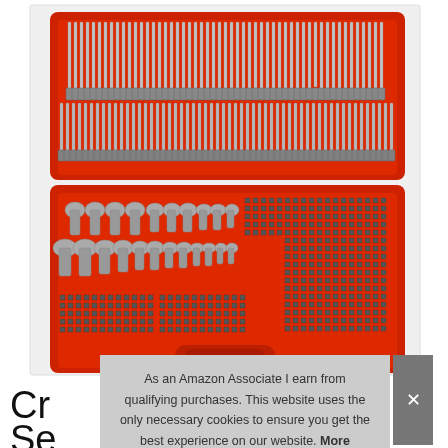[Figure (photo): A red toolbox/case open showing a large collection of screwdriver bits and nut driver bits organized in rows. The top section contains long screwdriver bits of various types, and the bottom section contains shorter bits and nut drivers in a red plastic case with a handle.]
As an Amazon Associate I earn from qualifying purchases. This website uses the only necessary cookies to ensure you get the best experience on our website. More information
Cr...
Se...
Original...